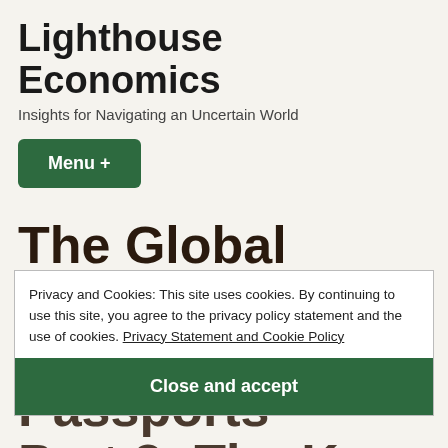Lighthouse Economics
Insights for Navigating an Uncertain World
Menu +
The Global Landscape on Vaccine In Passports Part 3: The Key Implementers of Your Digital Identity onto
Privacy and Cookies: This site uses cookies. By continuing to use this site, you agree to the privacy policy statement and the use of cookies. Privacy Statement and Cookie Policy
Close and accept